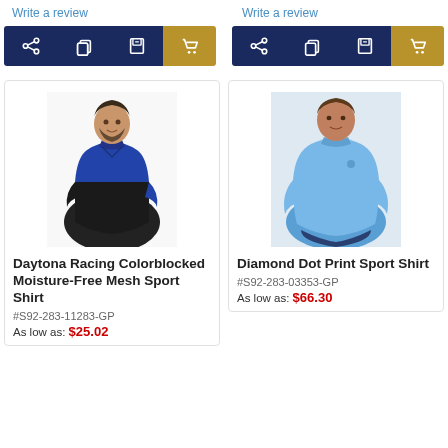Write a review
Write a review
[Figure (screenshot): Action bar with share, copy, save, and cart icons — left product (navy background, gold cart button)]
[Figure (screenshot): Action bar with share, copy, save, and cart icons — right product (navy background, gold cart button)]
[Figure (photo): Man wearing a blue and black colorblocked moisture-free mesh sport shirt]
Daytona Racing Colorblocked Moisture-Free Mesh Sport Shirt
#S92-283-11283-GP
As low as: $25.02
[Figure (photo): Man wearing a light blue diamond dot print sport shirt]
Diamond Dot Print Sport Shirt
#S92-283-03353-GP
As low as: $66.30